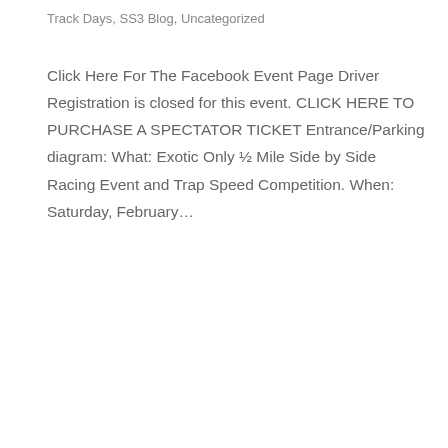Track Days, SS3 Blog, Uncategorized
Click Here For The Facebook Event Page Driver Registration is closed for this event. CLICK HERE TO PURCHASE A SPECTATOR TICKET Entrance/Parking diagram: What: Exotic Only ½ Mile Side by Side Racing Event and Trap Speed Competition. When: Saturday, February…